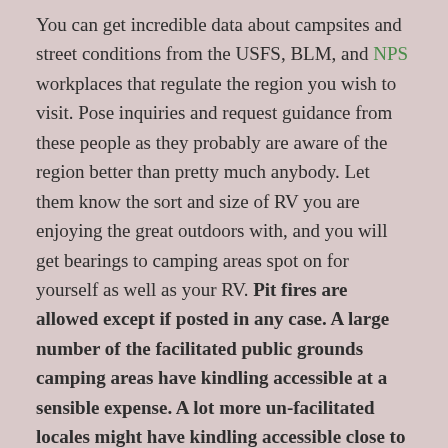You can get incredible data about campsites and street conditions from the USFS, BLM, and NPS workplaces that regulate the region you wish to visit. Pose inquiries and request guidance from these people as they probably are aware of the region better than pretty much anybody. Let them know the sort and size of RV you are enjoying the great outdoors with, and you will get bearings to camping areas spot on for yourself as well as your RV. Pit fires are allowed except if posted in any case. A large number of the facilitated public grounds camping areas have kindling accessible at a sensible expense. A lot more un-facilitated locales might have kindling accessible close to the campsite. A few campsites don't permit gathering kindling, however, these normally have kindling accessible close by. Assuming you need an